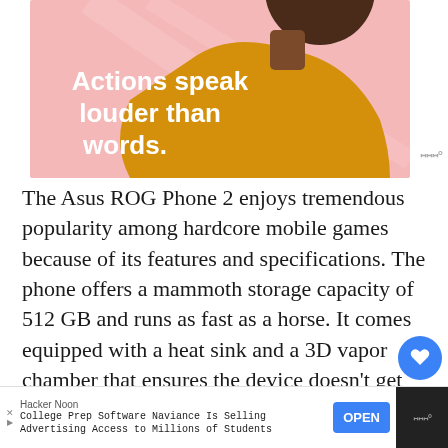[Figure (illustration): Advertisement illustration showing a person with text 'Actions speak louder than words.' in white on a pink and golden/yellow background]
The Asus ROG Phone 2 enjoys tremendous popularity among hardcore mobile games because of its features and specifications. The phone offers a mammoth storage capacity of 512 GB and runs as fast as a horse. It comes equipped with a heat sink and a 3D vapor chamber that ensures the device doesn't get heated up even when you use it extensively play games.
Hacker Noon
College Prep Software Naviance Is Selling Advertising Access to Millions of Students
OPEN